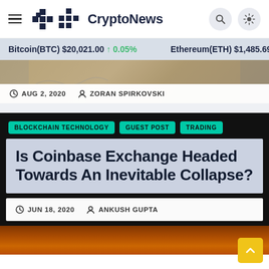CryptoNews
Bitcoin(BTC) $20,021.00 ↑ 0.05%   Ethereum(ETH) $1,485.69 ↑
AUG 2, 2020  ZORAN SPIRKOVSKI
BLOCKCHAIN TECHNOLOGY  GUEST POST  TRADING
Is Coinbase Exchange Headed Towards An Inevitable Collapse?
JUN 18, 2020  ANKUSH GUPTA